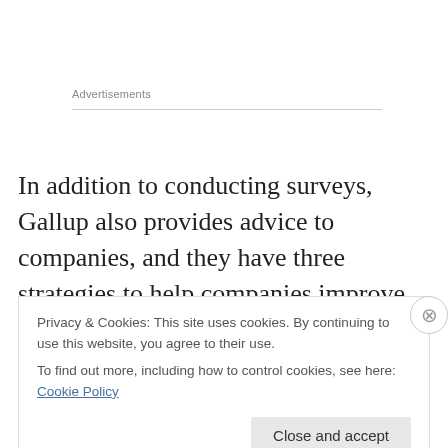Advertisements
In addition to conducting surveys, Gallup also provides advice to companies, and they have three strategies to help companies improve their employee's engagement. Perhaps some of these will help you improve your own engagement with your job.
Privacy & Cookies: This site uses cookies. By continuing to use this website, you agree to their use.
To find out more, including how to control cookies, see here: Cookie Policy
Close and accept